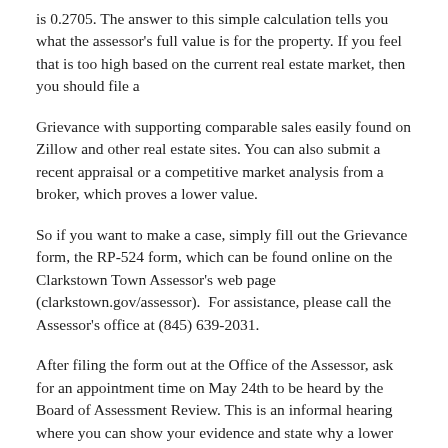is 0.2705. The answer to this simple calculation tells you what the assessor's full value is for the property. If you feel that is too high based on the current real estate market, then you should file a
Grievance with supporting comparable sales easily found on Zillow and other real estate sites. You can also submit a recent appraisal or a competitive market analysis from a broker, which proves a lower value.
So if you want to make a case, simply fill out the Grievance form, the RP-524 form, which can be found online on the Clarkstown Town Assessor's web page (clarkstown.gov/assessor).  For assistance, please call the Assessor's office at (845) 639-2031.
After filing the form out at the Office of the Assessor, ask for an appointment time on May 24th to be heard by the Board of Assessment Review. This is an informal hearing where you can show your evidence and state why a lower